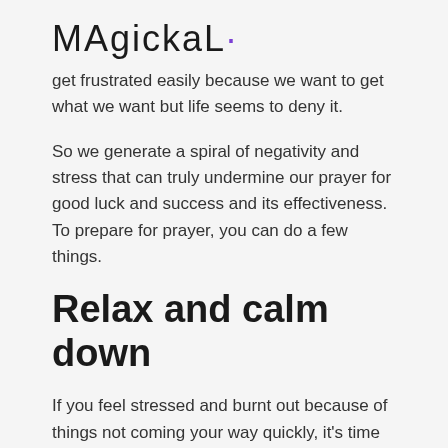MAGICKAL·
get frustrated easily because we want to get what we want but life seems to deny it.
So we generate a spiral of negativity and stress that can truly undermine our prayer for good luck and success and its effectiveness. To prepare for prayer, you can do a few things.
Relax and calm down
If you feel stressed and burnt out because of things not coming your way quickly, it's time to relax and calm down, otherwise, you could slow its manifestation even more!
Spend some time doing nothing or doing something you